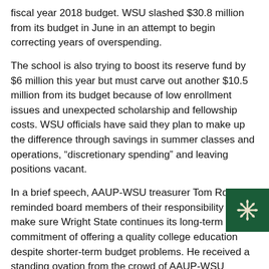fiscal year 2018 budget. WSU slashed $30.8 million from its budget in June in an attempt to begin correcting years of overspending.
The school is also trying to boost its reserve fund by $6 million this year but must carve out another $10.5 million from its budget because of low enrollment issues and unexpected scholarship and fellowship costs. WSU officials have said they plan to make up the difference through savings in summer classes and operations, “discretionary spending” and leaving positions vacant.
In a brief speech, AAUP-WSU treasurer Tom Rooney reminded board members of their responsibility to make sure Wright State continues its long-term commitment of offering a quality college education despite shorter-term budget problems. He received a standing ovation from the crowd of AAUP-WSU members.
“Boards will come and go but as long as the university continues to have students you’re going to have a faculty that ’s going to cont fight and ensure that they’re getting the best education possible,’ Rooney said.
[Figure (logo): Green square with white coronavirus/snowflake-like icon]
Contract negotiations originally stalled in March amid the university’s budget issues and the abrupt resignation of former president David Hopkins. AAUP-WSU president Martin Kich said on Wednesday that